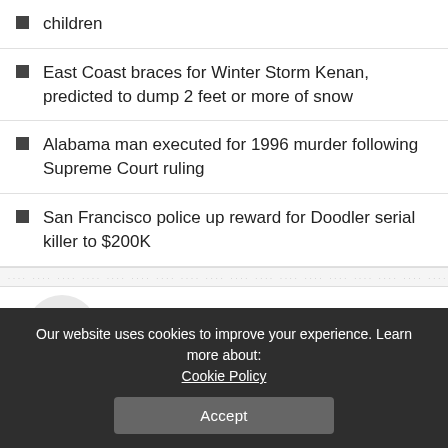children
East Coast braces for Winter Storm Kenan, predicted to dump 2 feet or more of snow
Alabama man executed for 1996 murder following Supreme Court ruling
San Francisco police up reward for Doodler serial killer to $200K
You Might Also Enjoy
[Figure (photo): Thumbnail images of news articles in a 'You Might Also Enjoy' section]
Our website uses cookies to improve your experience. Learn more about: Cookie Policy
Accept